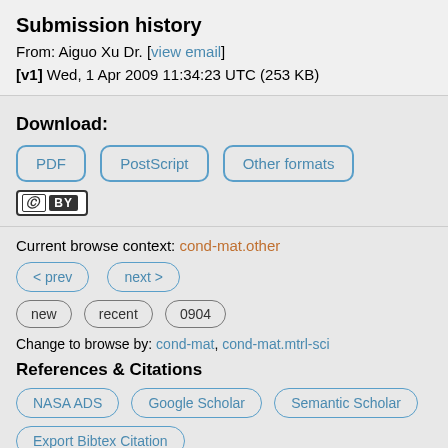Submission history
From: Aiguo Xu Dr. [view email]
[v1] Wed, 1 Apr 2009 11:34:23 UTC (253 KB)
Download:
PDF | PostScript | Other formats
[Figure (logo): Creative Commons BY license badge]
Current browse context: cond-mat.other
< prev | next >
new | recent | 0904
Change to browse by: cond-mat, cond-mat.mtrl-sci
References & Citations
NASA ADS | Google Scholar | Semantic Scholar
Export Bibtex Citation